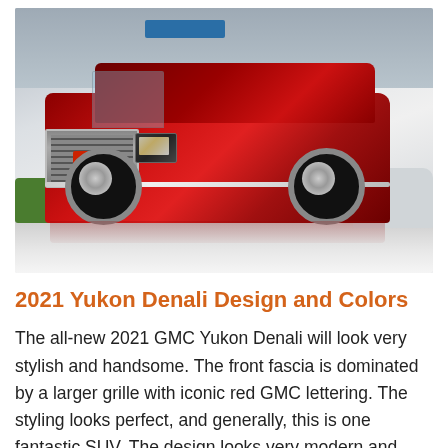[Figure (photo): A dark red GMC Yukon Denali SUV displayed at an auto show, shot from the front three-quarter angle. The vehicle features a large chrome grille with red GMC lettering, LED headlights, and large alloy wheels. Other vehicles are visible in the background on the auto show floor.]
2021 Yukon Denali Design and Colors
The all-new 2021 GMC Yukon Denali will look very stylish and handsome. The front fascia is dominated by a larger grille with iconic red GMC lettering. The styling looks perfect, and generally, this is one fantastic SUV. The design looks very modern and striking. For 2021, Yukon